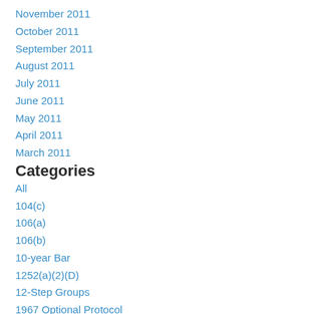November 2011
October 2011
September 2011
August 2011
July 2011
June 2011
May 2011
April 2011
March 2011
Categories
All
104(c)
106(a)
106(b)
10-year Bar
1252(a)(2)(D)
12-Step Groups
1967 Optional Protocol
1 Year H-1B Extension
2011 Immigration Awards